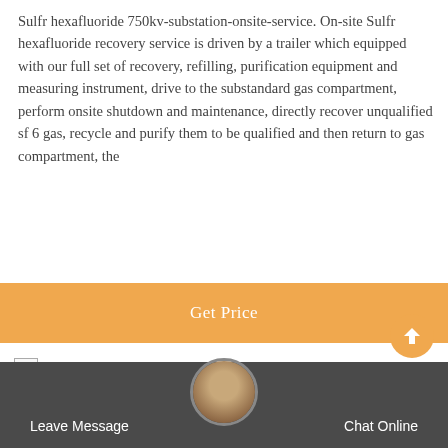Sulfr hexafluoride 750kv-substation-onsite-service. On-site Sulfr hexafluoride recovery service is driven by a trailer which equipped with our full set of recovery, refilling, purification equipment and measuring instrument, drive to the substandard gas compartment, perform onsite shutdown and maintenance, directly recover unqualified sf 6 gas, recycle and purify them to be qualified and then return to gas compartment, the
[Figure (other): Get Price button - orange/amber colored call-to-action button]
[Figure (other): Placeholder image icon with alt text: buy small amount sulfur hexafluoride Germany]
[Figure (other): Back to top button - circular orange arrow button in bottom right]
[Figure (other): Bottom navigation bar with Leave Message and Chat Online buttons, and customer service avatar in center]